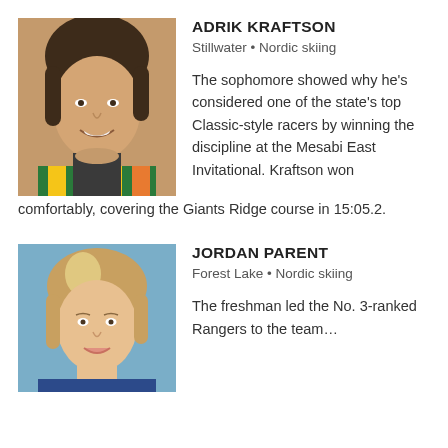[Figure (photo): Headshot photo of Adrik Kraftson, a young male with brown hair wearing a colorful scarf, smiling]
ADRIK KRAFTSON
Stillwater • Nordic skiing
The sophomore showed why he's considered one of the state's top Classic-style racers by winning the discipline at the Mesabi East Invitational. Kraftson won comfortably, covering the Giants Ridge course in 15:05.2.
[Figure (photo): Headshot photo of Jordan Parent, a young female with light brown hair, school portrait style with blue background]
JORDAN PARENT
Forest Lake • Nordic skiing
The freshman led the No. 3-ranked Rangers to the team…